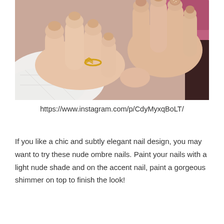[Figure (photo): Close-up photo of two hands with nude ombre nails, one hand wearing a gold chevron/wave ring on the finger, resting on a white quilted surface with a pink/purple background.]
https://www.instagram.com/p/CdyMyxqBoLT/
If you like a chic and subtly elegant nail design, you may want to try these nude ombre nails. Paint your nails with a light nude shade and on the accent nail, paint a gorgeous shimmer on top to finish the look!